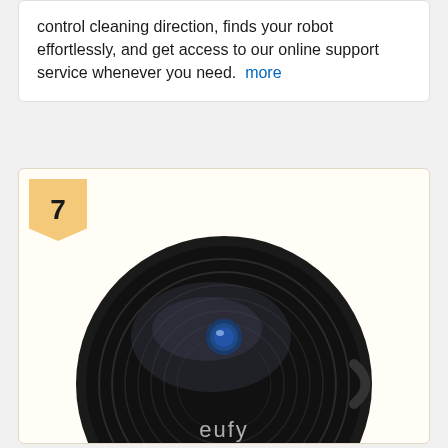control cleaning direction, finds your robot effortlessly, and get access to our online support service whenever you need.  more
[Figure (photo): Numbered listing card #7 showing a eufy robot vacuum cleaner (round black device with blue sensor button on top and 'eufy' branding) along with two rolls of magnetic boundary strips below it, on a cream/yellow-tinted background card.]